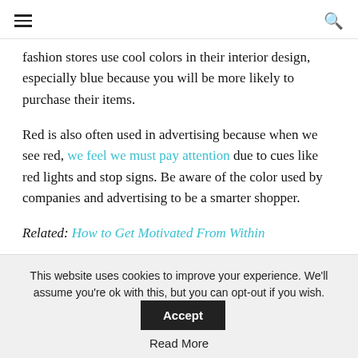≡   🔍
fashion stores use cool colors in their interior design, especially blue because you will be more likely to purchase their items.
Red is also often used in advertising because when we see red, we feel we must pay attention due to cues like red lights and stop signs. Be aware of the color used by companies and advertising to be a smarter shopper.
Related: How to Get Motivated From Within
4. Cleaning: Use Blue to Feel Squeaky Clean
This website uses cookies to improve your experience. We'll assume you're ok with this, but you can opt-out if you wish.
Read More